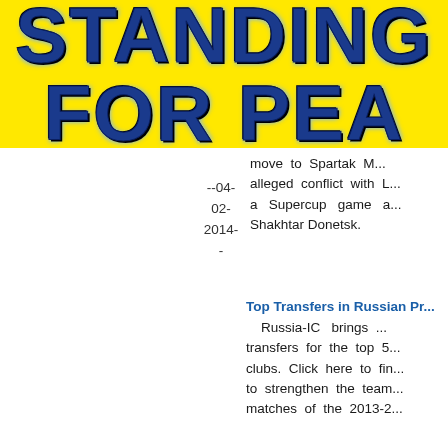[Figure (logo): Yellow banner with 'STANDING FOR PEA...' text in dark blue bold distressed font with lightning crack effects on yellow background]
move to Spartak M... alleged conflict with L... a Supercup game a... Shakhtar Donetsk.
--04-02-2014--
Top Transfers in Russian Pr...
Russia-IC brings ... transfers for the top 5... clubs. Click here to fin... to strengthen the team... matches of the 2013-2...